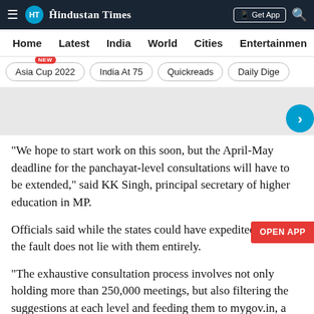Hindustan Times
Home | Latest | India | World | Cities | Entertainment
Asia Cup 2022 (NEW) | India At 75 | Quickreads | Daily Dige
[Figure (other): Advertisement banner placeholder (light gray rectangle)]
"We hope to start work on this soon, but the April-May deadline for the panchayat-level consultations will have to be extended," said KK Singh, principal secretary of higher education in MP.
Officials said while the states could have expedited the process, the fault does not lie with them entirely.
"The exhaustive consultation process involves not only holding more than 250,000 meetings, but also filtering the suggestions at each level and feeding them to mygov.in, a citizen-government engagement platform, which is quite a herculean task," a state official said.